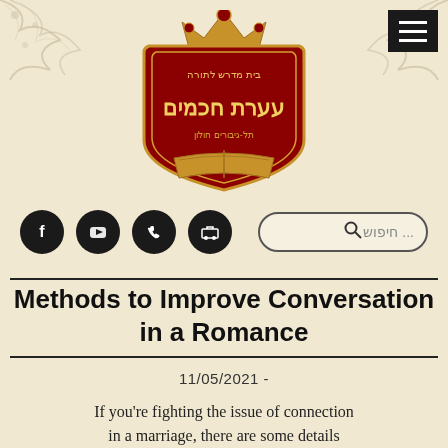[Figure (logo): Decorative logo with crown and Hebrew text reading 'Beit Midrash LaTorah - Ateret Hachamim - Tel-Giborim Holon' in ornate gold and dark red shield/medallion design]
[Figure (illustration): Decorative floral/filigree corner ornaments on top-left and top-right of the page]
[Figure (screenshot): Hamburger menu button (black square with three white horizontal lines) in top-right corner]
[Figure (infographic): Social media icon buttons: Facebook (f), YouTube, phone, and shopping cart - all dark circular icons]
[Figure (screenshot): Search bar with magnifying glass icon and Hebrew placeholder text '... חיפוש']
Methods to Improve Conversation in a Romance
11/05/2021 -
If you're fighting the issue of connection in a marriage, there are some details